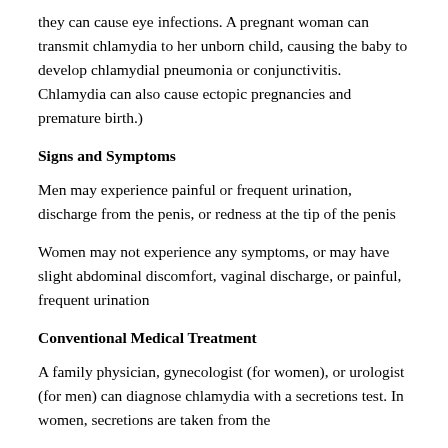they can cause eye infections. A pregnant woman can transmit chlamydia to her unborn child, causing the baby to develop chlamydial pneumonia or conjunctivitis. Chlamydia can also cause ectopic pregnancies and premature birth.)
Signs and Symptoms
Men may experience painful or frequent urination, discharge from the penis, or redness at the tip of the penis
Women may not experience any symptoms, or may have slight abdominal discomfort, vaginal discharge, or painful, frequent urination
Conventional Medical Treatment
A family physician, gynecologist (for women), or urologist (for men) can diagnose chlamydia with a secretions test. In women, secretions are taken from the